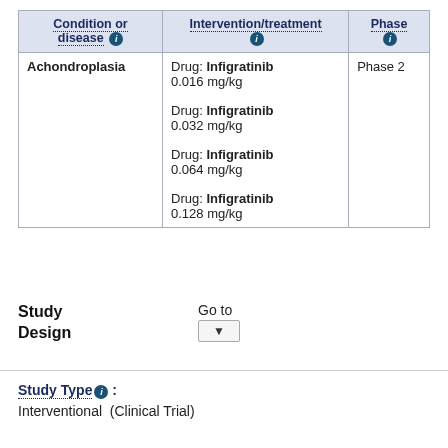| Condition or disease ⓘ | Intervention/treatment ⓘ | Phase ⓘ |
| --- | --- | --- |
| Achondroplasia | Drug: Infigratinib 0.016 mg/kg
Drug: Infigratinib 0.032 mg/kg
Drug: Infigratinib 0.064 mg/kg
Drug: Infigratinib 0.128 mg/kg | Phase 2 |
Study Design  Go to ▼
Study Type ⓘ :
Interventional  (Clinical Trial)